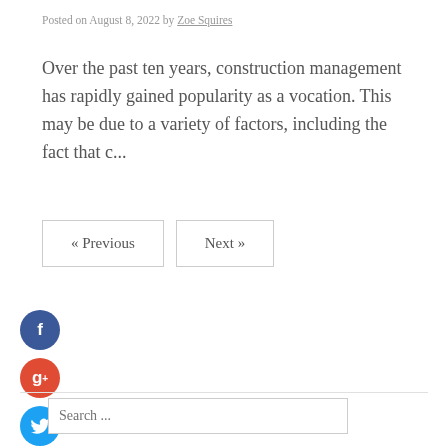Posted on August 8, 2022 by Zoe Squires
Over the past ten years, construction management has rapidly gained popularity as a vocation. This may be due to a variety of factors, including the fact that c...
[Figure (other): Navigation buttons: « Previous and Next »]
[Figure (other): Social media icons: Facebook (blue), Google+ (red), Twitter (blue), Plus (dark)]
Search ...